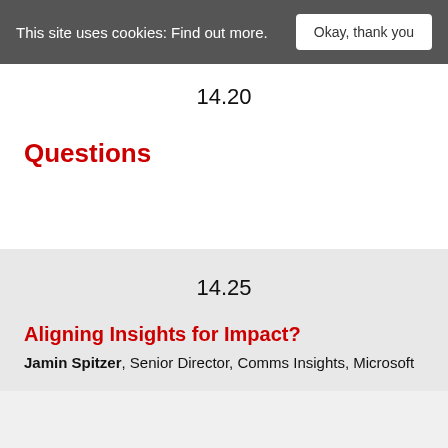This site uses cookies: Find out more.
14.20
Questions
14.25
Aligning Insights for Impact?
Jamin Spitzer, Senior Director, Comms Insights, Microsoft